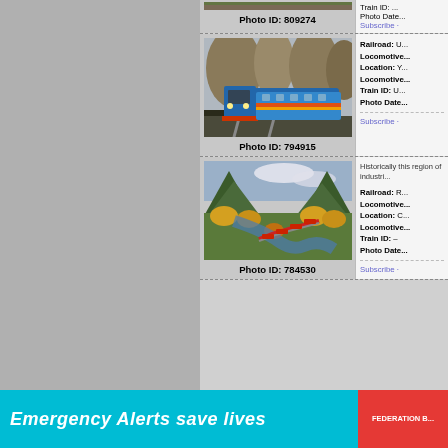[Figure (photo): Top partial entry: train photo (cropped at top), caption Photo ID: 809274]
Photo ID: 809274
Train ID: ...
Photo Date: ...
Subscribe ·
[Figure (photo): Blue diesel locomotive pulling passenger train through bare trees]
Photo ID: 794915
Railroad: U...
Locomotive...
Location: Y...
Locomotive...
Train ID: U...
Photo Date...
Subscribe ·
[Figure (photo): Aerial view of freight train winding through autumn mountain valley with river]
Photo ID: 784530
Historically this region of industri...
Railroad: R...
Locomotive...
Location: C...
Locomotive...
Train ID: –
Photo Date...
Subscribe ·
Emergency Alerts save lives